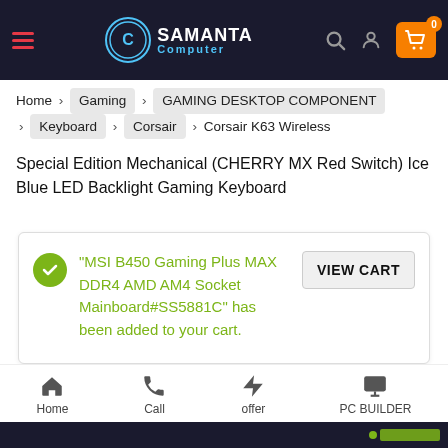Samanta Computer — navigation header with logo, search, user, and cart icons
Home > Gaming > GAMING DESKTOP COMPONENT > Keyboard > Corsair > Corsair K63 Wireless Special Edition Mechanical (CHERRY MX Red Switch) Ice Blue LED Backlight Gaming Keyboard
"MSI B450 Gaming Plus MAX DDR4 AMD AM4 Socket Mainboard#SS5881C" has been added to your cart.
Home | Call | offer | PC BUILDER